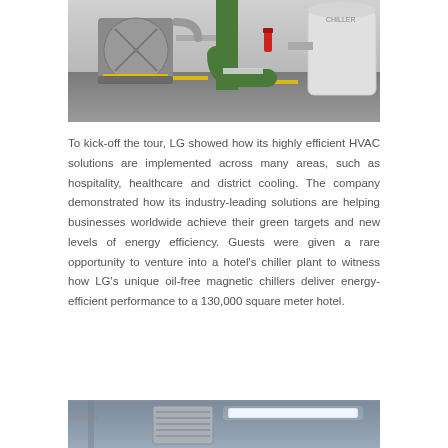[Figure (photo): Interior of a hotel chiller plant room showing large industrial HVAC/chiller equipment — green pipes, cylindrical compressor units, and a large white cylindrical vessel, on a grey concrete floor with yellow safety markings.]
To kick-off the tour, LG showed how its highly efficient HVAC solutions are implemented across many areas, such as hospitality, healthcare and district cooling. The company demonstrated how its industry-leading solutions are helping businesses worldwide achieve their green targets and new levels of energy efficiency. Guests were given a rare opportunity to venture into a hotel's chiller plant to witness how LG's unique oil-free magnetic chillers deliver energy-efficient performance to a 130,000 square meter hotel.
[Figure (photo): Partial view of a ceiling-mounted HVAC ventilation unit or air diffuser in a modern interior setting, with visible ductwork and a fluorescent light strip.]